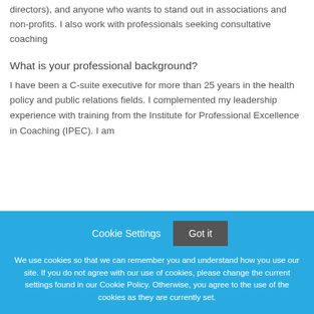directors), and anyone who wants to stand out in associations and non-profits. I also work with professionals seeking consultative coaching
What is your professional background?
I have been a C-suite executive for more than 25 years in the health policy and public relations fields. I complemented my leadership experience with training from the Institute for Professional Excellence in Coaching (IPEC). I am
Cookie Settings
Got it
We use cookies so that we can remember you and understand how you use our site. If you do not agree with our use of cookies, please change the current settings found in our Cookie Policy. Otherwise, you agree to the use of the cookies as they are currently set.